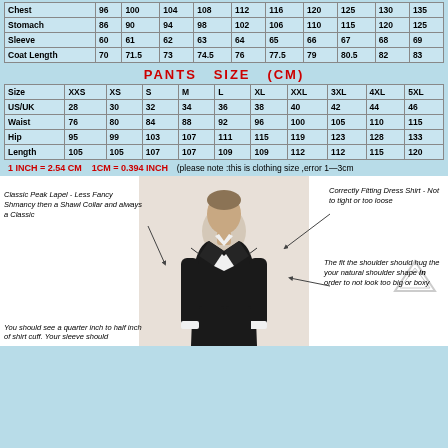|  | XXS | XS | S | M | L | XL | XXL | 3XL | 4XL | 5XL |
| --- | --- | --- | --- | --- | --- | --- | --- | --- | --- | --- |
| Chest | 96 | 100 | 104 | 108 | 112 | 116 | 120 | 125 | 130 | 135 |
| Stomach | 86 | 90 | 94 | 98 | 102 | 106 | 110 | 115 | 120 | 125 |
| Sleeve | 60 | 61 | 62 | 63 | 64 | 65 | 66 | 67 | 68 | 69 |
| Coat Length | 70 | 71.5 | 73 | 74.5 | 76 | 77.5 | 79 | 80.5 | 82 | 83 |
PANTS  SIZE  (CM)
| Size | XXS | XS | S | M | L | XL | XXL | 3XL | 4XL | 5XL |
| --- | --- | --- | --- | --- | --- | --- | --- | --- | --- | --- |
| US/UK | 28 | 30 | 32 | 34 | 36 | 38 | 40 | 42 | 44 | 46 |
| Waist | 76 | 80 | 84 | 88 | 92 | 96 | 100 | 105 | 110 | 115 |
| Hip | 95 | 99 | 103 | 107 | 111 | 115 | 119 | 123 | 128 | 133 |
| Length | 105 | 105 | 107 | 107 | 109 | 109 | 112 | 112 | 115 | 120 |
1 INCH = 2.54 CM   1CM = 0.394 INCH   (please note :this is clothing size ,error 1-3cm
[Figure (photo): Man in black tuxedo suit with bow tie, used as a fitting guide with annotations pointing to various parts of the suit]
Classic Peak Lapel - Less Fancy Shmancy then a Shawl Collar and always a Classic
Correctly Fitting Dress Shirt - Not to tight or too loose
The fit the shoulder should hug the your natural shoulder shape in order to not look too big or boxy
You should see a quarter inch to half inch of shirt cuff. Your sleeve should